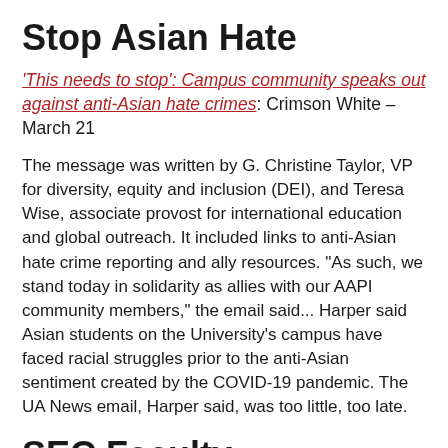Stop Asian Hate
'This needs to stop': Campus community speaks out against anti-Asian hate crimes: Crimson White – March 21
The message was written by G. Christine Taylor, VP for diversity, equity and inclusion (DEI), and Teresa Wise, associate provost for international education and global outreach. It included links to anti-Asian hate crime reporting and ally resources. “As such, we stand today in solidarity as allies with our AAPI community members,” the email said... Harper said Asian students on the University’s campus have faced racial struggles prior to the anti-Asian sentiment created by the COVID-19 pandemic. The UA News email, Harper said, was too little, too late.
SEC Faculty Achievement